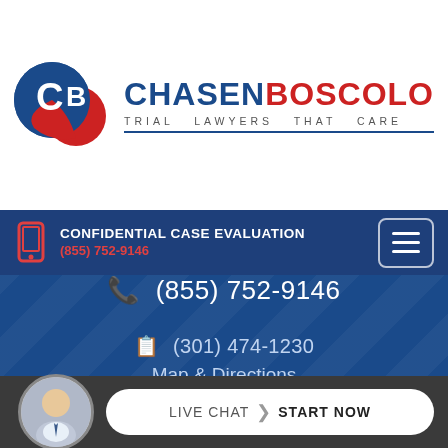[Figure (logo): ChasenBoscolo Trial Lawyers That Care logo with circular CB emblem in blue and red]
CONFIDENTIAL CASE EVALUATION
(855) 752-9146
(855) 752-9146
(301) 474-1230
Map & Directions
LIVE CHAT  START NOW